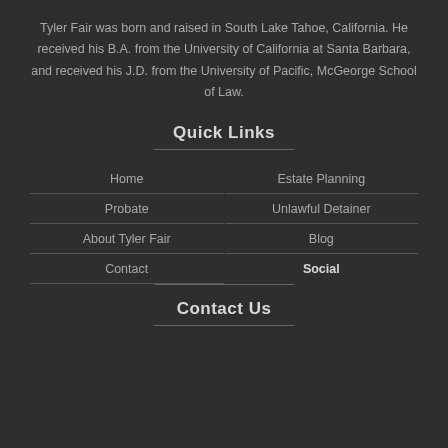Tyler Fair was born and raised in South Lake Tahoe, California. He received his B.A. from the University of California at Santa Barbara, and received his J.D. from the University of Pacific, McGeorge School of Law.
Quick Links
Home
Estate Planning
Probate
Unlawful Detainer
About Tyler Fair
Blog
Contact
Social
Contact Us